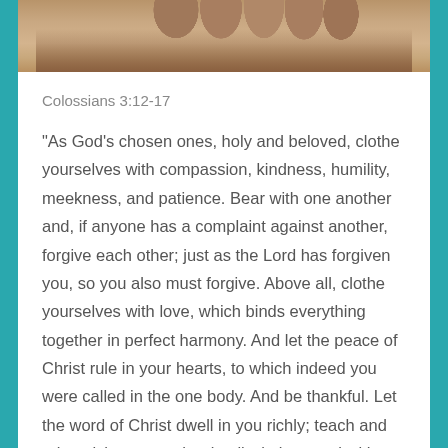[Figure (photo): Close-up photo of human toes/feet against a warm brown background, cropped at top of page]
Colossians 3:12-17
"As God’s chosen ones, holy and beloved, clothe yourselves with compassion, kindness, humility, meekness, and patience. Bear with one another and, if anyone has a complaint against another, forgive each other; just as the Lord has forgiven you, so you also must forgive. Above all, clothe yourselves with love, which binds everything together in perfect harmony. And let the peace of Christ rule in your hearts, to which indeed you were called in the one body. And be thankful. Let the word of Christ dwell in you richly; teach and admonish one another in all wisdom; and with gratitude in your hearts sing psalms, hymns, and spiritual songs to God. And whatever you do, in word or deed, do